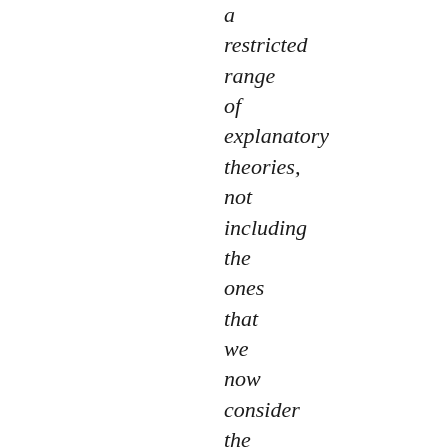a restricted range of explanatory theories, not including the ones that we now consider the best available explanations of important phenomena